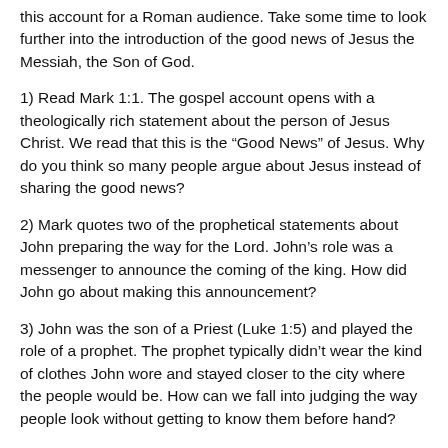this account for a Roman audience. Take some time to look further into the introduction of the good news of Jesus the Messiah, the Son of God.
1) Read Mark 1:1. The gospel account opens with a theologically rich statement about the person of Jesus Christ. We read that this is the “Good News” of Jesus. Why do you think so many people argue about Jesus instead of sharing the good news?
2) Mark quotes two of the prophetical statements about John preparing the way for the Lord. John’s role was a messenger to announce the coming of the king. How did John go about making this announcement?
3) John was the son of a Priest (Luke 1:5) and played the role of a prophet. The prophet typically didn’t wear the kind of clothes John wore and stayed closer to the city where the people would be. How can we fall into judging the way people look without getting to know them before hand?
4) John understood the holiness of Jesus by stating that he